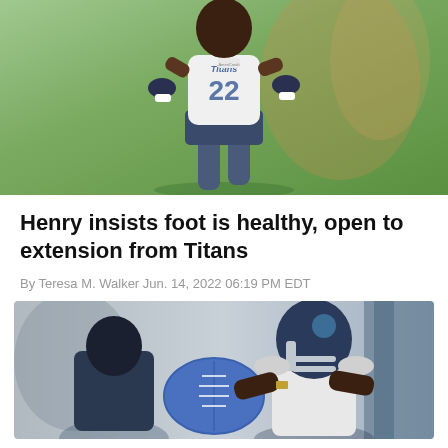[Figure (photo): Derrick Henry, Tennessee Titans running back wearing white #22 jersey, running on a practice field during training camp]
Henry insists foot is healthy, open to extension from Titans
By Teresa M. Walker Jun. 14, 2022 06:19 PM EDT
[Figure (photo): Derrick Henry in Titans navy helmet receiving a ball or working with a coach during practice, holding a blue football-shaped ball]